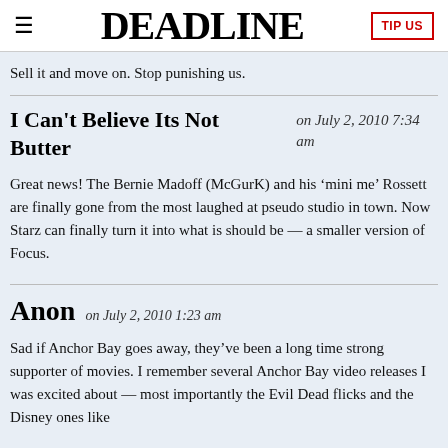DEADLINE
Sell it and move on. Stop punishing us.
I Can't Believe Its Not Butter
on July 2, 2010 7:34 am
Great news! The Bernie Madoff (McGurK) and his ‘mini me’ Rossett are finally gone from the most laughed at pseudo studio in town. Now Starz can finally turn it into what is should be — a smaller version of Focus.
Anon
on July 2, 2010 1:23 am
Sad if Anchor Bay goes away, they’ve been a long time strong supporter of movies. I remember several Anchor Bay video releases I was excited about — most importantly the Evil Dead flicks and the Disney ones like